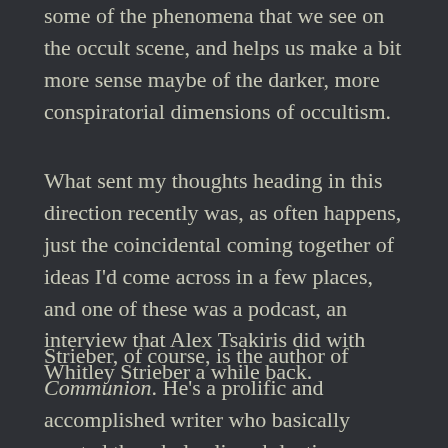some of the phenomena that we see on the occult scene, and helps us make a bit more sense maybe of the darker, more conspiratorial dimensions of occultism.
What sent my thoughts heading in this direction recently was, as often happens, just the coincidental coming together of ideas I'd come across in a few places, and one of these was a podcast, an interview that Alex Tsakiris did with Whitley Strieber a while back.
Strieber, of course, is the author of Communion. He's a prolific and accomplished writer who basically created the whole alien abduction phenomenon. Strieber was talking with Tsakiris about how his uncle and father were